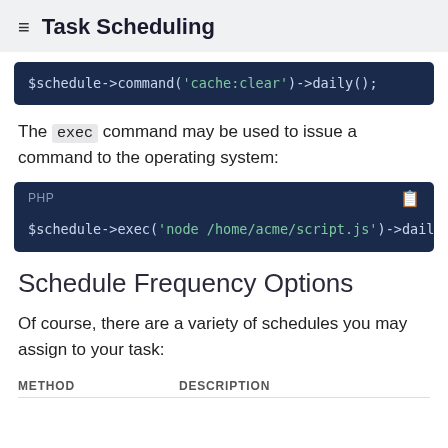Task Scheduling
[Figure (screenshot): Code block showing: $schedule->command('cache:clear')->daily();]
The exec command may be used to issue a command to the operating system:
[Figure (screenshot): PHP code block showing: $schedule->exec('node /home/acme/script.js')->daily]
Schedule Frequency Options
Of course, there are a variety of schedules you may assign to your task:
| METHOD | DESCRIPTION |
| --- | --- |